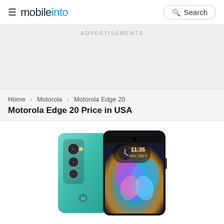mobileinto  Search
ADVERTISEMENTS
Home > Motorola > Motorola Edge 20
Motorola Edge 20 Price in USA
[Figure (photo): Motorola Edge 20 smartphone shown from front and back. The back is teal/aqua colored with triple camera setup. The front shows the display with time 11:35 and a colorful butterfly wallpaper.]